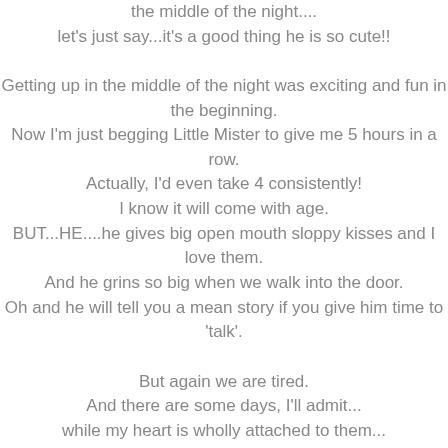the middle of the night....
let's just say...it's a good thing he is so cute!!

Getting up in the middle of the night was exciting and fun in the beginning.
Now I'm just begging Little Mister to give me 5 hours in a row.
Actually, I'd even take 4 consistently!
I know it will come with age.
BUT...HE....he gives big open mouth sloppy kisses and I love them.
And he grins so big when we walk into the door.
Oh and he will tell you a mean story if you give him time to 'talk'.

But again we are tired.
And there are some days, I'll admit...
while my heart is wholly attached to them...
I wonder what it will be like when they are gone.
What it will be like to plop down on the couch with a bowl of ice-cream and my favorite show
and not be interrupted with a crying baby who just woke up